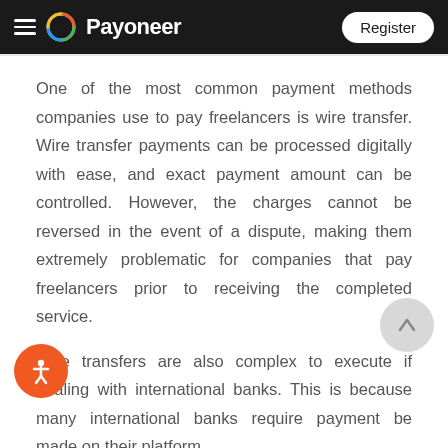Payoneer | Register
One of the most common payment methods companies use to pay freelancers is wire transfer. Wire transfer payments can be processed digitally with ease, and exact payment amount can be controlled. However, the charges cannot be reversed in the event of a dispute, making them extremely problematic for companies that pay freelancers prior to receiving the completed service.
Wire transfers are also complex to execute if dealing with international banks. This is because many international banks require payment be made on their platform,